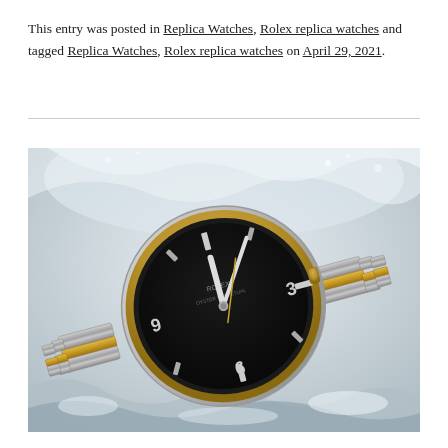This entry was posted in Replica Watches, Rolex replica watches and tagged Replica Watches, Rolex replica watches on April 29, 2021.
[Figure (photo): A luxury two-tone Rolex watch with a black dial and gold/steel Oyster bracelet, photographed against a dramatic white water splash background.]